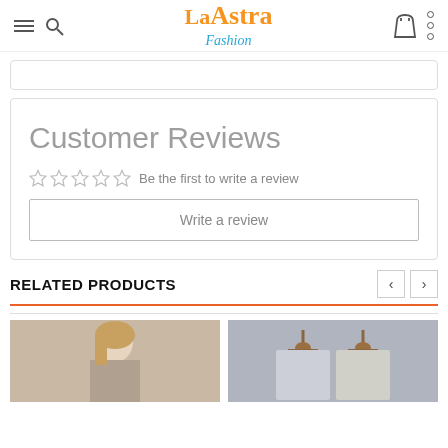La Astra Fashion — navigation header with hamburger menu, search icon, logo, bag icon, and dots menu
Customer Reviews
☆☆☆☆☆ Be the first to write a review
Write a review
RELATED PRODUCTS
[Figure (photo): Two product photos side by side: left shows a woman with blonde hair in a casual setting; right shows clothing hanging on wooden hangers against a gray background]